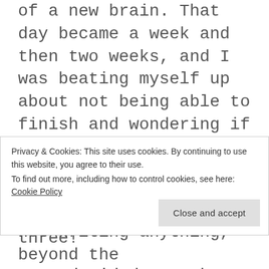of a new brain. That day became a week and then two weeks, and I was beating myself up about not being able to finish and wondering if my diminished skills had to do with aging. Dementia! Alzheimer's! Brain tumors! All three!
So I decided to take a break. After all, I was not required to write. I had no employer and the blog generated no income. So why not? Of course, I worried about my very kind and
Privacy & Cookies: This site uses cookies. By continuing to use this website, you agree to their use.
To find out more, including how to control cookies, see here: Cookie Policy
not writing anything, beyond the